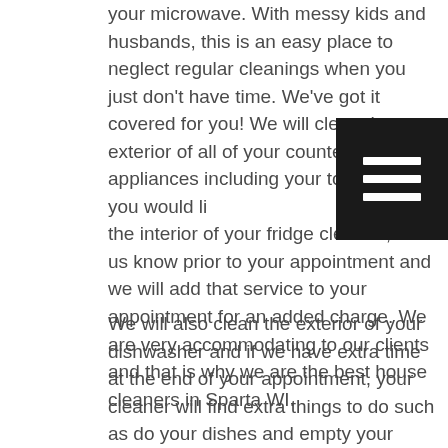your microwave. With messy kids and husbands, this is an easy place to neglect regular cleanings when you just don't have time. We've got it covered for you! We will clean the exterior of all of your countertop appliances including your toaster. If you would like the interior of your fridge cleaned, let us know prior to your appointment and we will add that service to your appointment for an added charge. We are very accommodating to our clients and that is why we are the best house cleaners in Sparta WI.
[Figure (other): Hamburger menu icon — three horizontal white lines on a dark/black rounded rectangle background]
We will also clean the exterior of your dishwasher and if we have extra time at the end of your appointment, your cleaner will find extra things to do such as do your dishes and empty your dishwasher. If necessary, your cleaner will fill your dishwasher if you request that they do so. If there is a ceiling fan inside your kitchen, your cleaner will dust and clean it if it is reachable with a step stool and extendable duster. We have our cleaners reach hard to reach